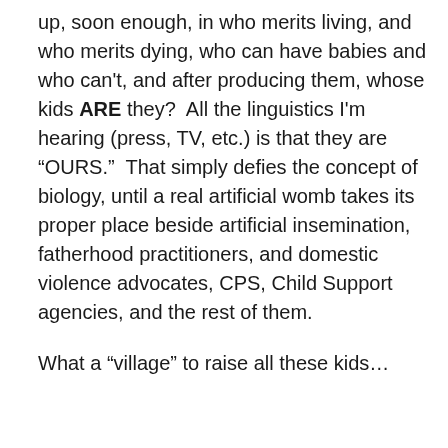up, soon enough, in who merits living, and who merits dying, who can have babies and who can't, and after producing them, whose kids ARE they?  All the linguistics I'm hearing (press, TV, etc.) is that they are “OURS.”  That simply defies the concept of biology, until a real artificial womb takes its proper place beside artificial insemination, fatherhood practitioners, and domestic violence advocates, CPS, Child Support agencies, and the rest of them.
What a “village” to raise all these kids…